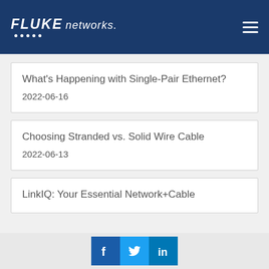Fluke Networks
What's Happening with Single-Pair Ethernet?
2022-06-16
Choosing Stranded vs. Solid Wire Cable
2022-06-13
LinkIQ: Your Essential Network+Cable
Social icons: Facebook, Twitter, LinkedIn